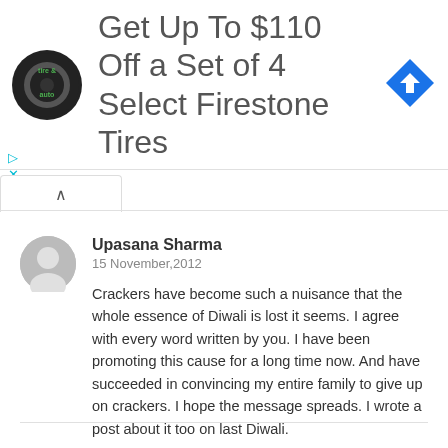[Figure (screenshot): Advertisement banner for Firestone tires showing a tire & auto logo, text 'Get Up To $110 Off a Set of 4 Select Firestone Tires', and a blue navigation arrow icon.]
Upasana Sharma
15 November,2012

Crackers have become such a nuisance that the whole essence of Diwali is lost it seems. I agree with every word written by you. I have been promoting this cause for a long time now. And have succeeded in convincing my entire family to give up on crackers. I hope the message spreads. I wrote a post about it too on last Diwali.

Good job!

Reply